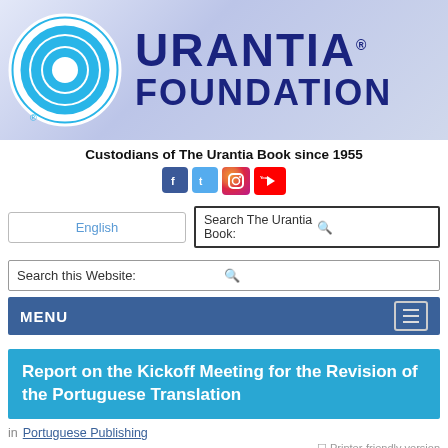[Figure (logo): Urantia Foundation logo with concentric circles in blue and text 'URANTIA FOUNDATION']
Custodians of The Urantia Book since 1955
[Figure (other): Social media icons: Facebook, Twitter, Instagram, YouTube]
English
Search The Urantia Book:
Search this Website:
MENU
Report on the Kickoff Meeting for the Revision of the Portuguese Translation
in  Portuguese Publishing